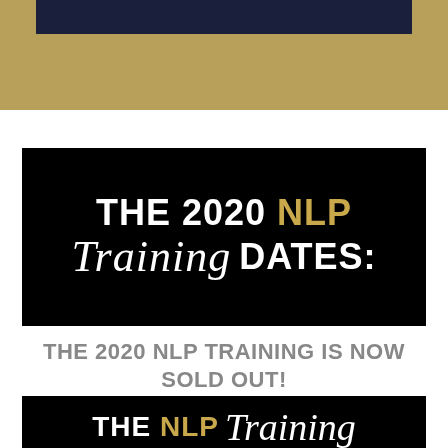[Figure (illustration): Top banner with gold/tan textured background and a dark navy horizontal bar at the top]
THE 2020 NLP Training DATES:
THE 2020 NLP TRAINING IS NOW SOLD OUT!
[Figure (illustration): Black banner with text THE NLP Training in white and gold]